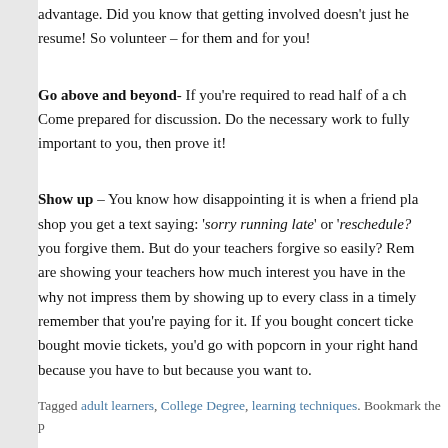advantage. Did you know that getting involved doesn't just he… resume! So volunteer – for them and for you!
Go above and beyond- If you're required to read half of a ch… Come prepared for discussion. Do the necessary work to fully… important to you, then prove it!
Show up – You know how disappointing it is when a friend pla… shop you get a text saying: 'sorry running late' or 'reschedule?'… you forgive them. But do your teachers forgive so easily? Rem… are showing your teachers how much interest you have in the… why not impress them by showing up to every class in a timely… remember that you're paying for it. If you bought concert ticke… bought movie tickets, you'd go with popcorn in your right hand… because you have to but because you want to.
Tagged adult learners, College Degree, learning techniques. Bookmark the p…